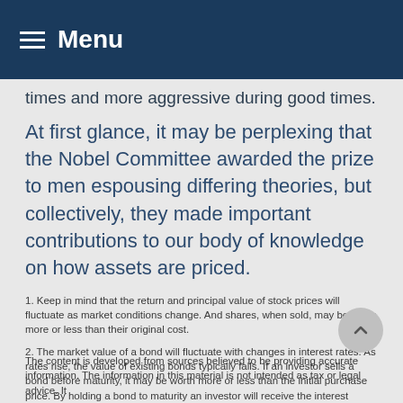Menu
times and more aggressive during good times.
At first glance, it may be perplexing that the Nobel Committee awarded the prize to men espousing differing theories, but collectively, they made important contributions to our body of knowledge on how assets are priced.
1. Keep in mind that the return and principal value of stock prices will fluctuate as market conditions change. And shares, when sold, may be worth more or less than their original cost.
2. The market value of a bond will fluctuate with changes in interest rates. As rates rise, the value of existing bonds typically falls. If an investor sells a bond before maturity, it may be worth more or less than the initial purchase price. By holding a bond to maturity an investor will receive the interest payments due plus his or her original principal, barring default by the issuer. Investments seeking to achieve higher yields also involve a higher degree of risk.
The content is developed from sources believed to be providing accurate information. The information in this material is not intended as tax or legal advice. It